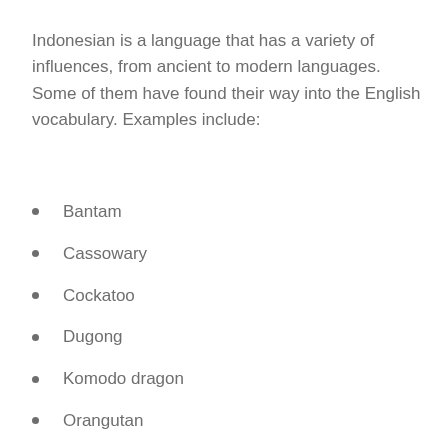Indonesian is a language that has a variety of influences, from ancient to modern languages. Some of them have found their way into the English vocabulary. Examples include:
Bantam
Cassowary
Cockatoo
Dugong
Komodo dragon
Orangutan
Pangolin
Tapir